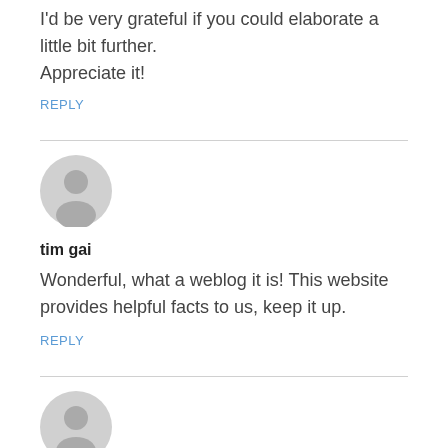I'd be very grateful if you could elaborate a little bit further.
Appreciate it!
REPLY
[Figure (illustration): Gray circular avatar placeholder icon with a person silhouette]
tim gai
Wonderful, what a weblog it is! This website provides helpful facts to us, keep it up.
REPLY
[Figure (illustration): Gray circular avatar placeholder icon with a person silhouette]